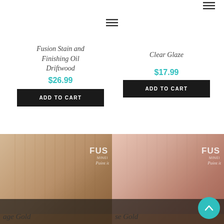≡ (menu icon top right)
≡ (menu icon center)
Fusion Stain and Finishing Oil Driftwood
$26.99
ADD TO CART
Clear Glaze
$17.99
ADD TO CART
[Figure (photo): Paint brush with tan/gold paint swatch, FUS Mineral Paint logo, partial product name 'age Gold' visible]
[Figure (photo): Paint brush with rose/nude pink paint swatch, FUS Mineral Paint logo, partial product name 'se Gold' visible]